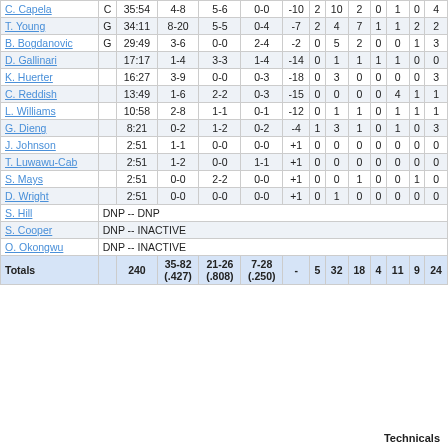| Player | Pos | Min | FGM-A | FTM-A | 3PM-A | +/- | OR | TR | AS | PF | ST | TO | PTS |
| --- | --- | --- | --- | --- | --- | --- | --- | --- | --- | --- | --- | --- | --- |
| C. Capela | C | 35:54 | 4-8 | 5-6 | 0-0 | -10 | 2 | 10 | 2 | 0 | 1 | 0 | 4 |
| T. Young | G | 34:11 | 8-20 | 5-5 | 0-4 | -7 | 2 | 4 | 7 | 1 | 1 | 2 | 2 |
| B. Bogdanovic | G | 29:49 | 3-6 | 0-0 | 2-4 | -2 | 0 | 5 | 2 | 0 | 0 | 1 | 3 |
| D. Gallinari |  | 17:17 | 1-4 | 3-3 | 1-4 | -14 | 0 | 1 | 1 | 1 | 1 | 0 | 0 |
| K. Huerter |  | 16:27 | 3-9 | 0-0 | 0-3 | -18 | 0 | 3 | 0 | 0 | 0 | 0 | 3 |
| C. Reddish |  | 13:49 | 1-6 | 2-2 | 0-3 | -15 | 0 | 0 | 0 | 0 | 4 | 1 | 1 |
| L. Williams |  | 10:58 | 2-8 | 1-1 | 0-1 | -12 | 0 | 1 | 1 | 0 | 1 | 1 | 1 |
| G. Dieng |  | 8:21 | 0-2 | 1-2 | 0-2 | -4 | 1 | 3 | 1 | 0 | 1 | 0 | 3 |
| J. Johnson |  | 2:51 | 1-1 | 0-0 | 0-0 | +1 | 0 | 0 | 0 | 0 | 0 | 0 | 0 |
| T. Luwawu-Cab |  | 2:51 | 1-2 | 0-0 | 1-1 | +1 | 0 | 0 | 0 | 0 | 0 | 0 | 0 |
| S. Mays |  | 2:51 | 0-0 | 2-2 | 0-0 | +1 | 0 | 0 | 1 | 0 | 0 | 1 | 0 |
| D. Wright |  | 2:51 | 0-0 | 0-0 | 0-0 | +1 | 0 | 1 | 0 | 0 | 0 | 0 | 0 |
| S. Hill | DNP -- DNP |  |  |  |  |  |  |  |  |  |  |  |  |
| S. Cooper | DNP -- INACTIVE |  |  |  |  |  |  |  |  |  |  |  |  |
| O. Okongwu | DNP -- INACTIVE |  |  |  |  |  |  |  |  |  |  |  |  |
| Totals |  | 240 | 35-82 (.427) | 21-26 (.808) | 7-28 (.250) | - | 5 | 32 | 18 | 4 | 11 | 9 | 24 |
Technicals